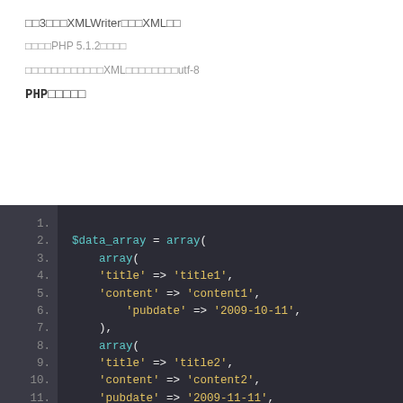第3章　XMLWriterによるXML生成
動作環境：PHP 5.1.2以降
作成されるXMLのエンコードは文字コードutf-8
PHPのサンプル
[Figure (screenshot): PHP code block on dark background showing array data structure with title, content, pubdate fields for two entries]